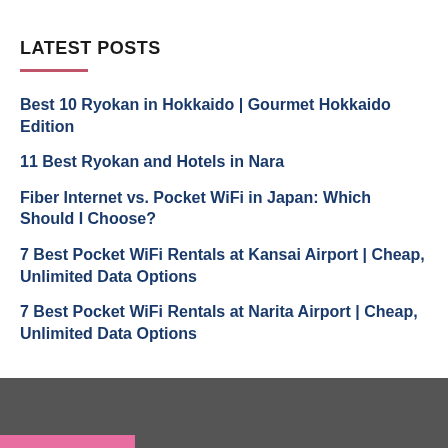LATEST POSTS
Best 10 Ryokan in Hokkaido | Gourmet Hokkaido Edition
11 Best Ryokan and Hotels in Nara
Fiber Internet vs. Pocket WiFi in Japan: Which Should I Choose?
7 Best Pocket WiFi Rentals at Kansai Airport | Cheap, Unlimited Data Options
7 Best Pocket WiFi Rentals at Narita Airport | Cheap, Unlimited Data Options
E-mail Us